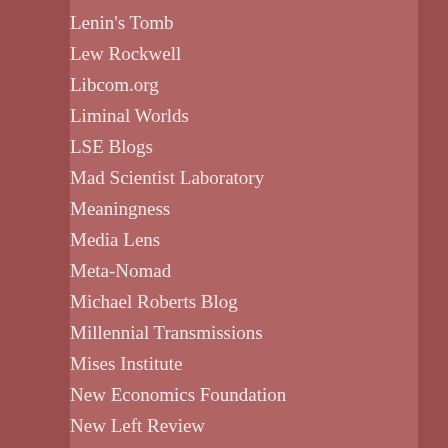Lenin's Tomb
Lew Rockwell
Libcom.org
Liminal Worlds
LSE Blogs
Mad Scientist Laboratory
Meaningness
Media Lens
Meta-Nomad
Michael Roberts Blog
Millennial Transmissions
Mises Institute
New Economics Foundation
New Left Review
New Socialist
Noema
Notes On Liberty
Novara Media
OffGuardian
Oil Price